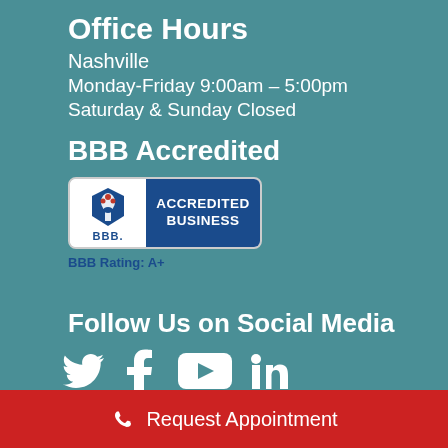Office Hours
Nashville
Monday-Friday 9:00am – 5:00pm
Saturday & Sunday Closed
BBB Accredited
[Figure (logo): BBB Accredited Business logo with blue shield emblem and BBB Rating: A+]
Follow Us on Social Media
[Figure (infographic): Social media icons: Twitter, Facebook, YouTube, LinkedIn]
Request Appointment